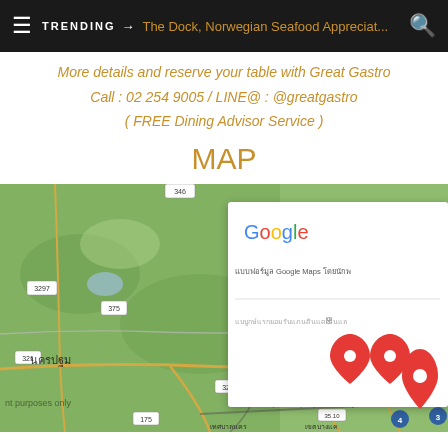TRENDING → The Dock, Norwegian Seafood Appreciat...
More details and reserve your table with Great Gastro
Call : 02 254 9005 / LINE@ : @greatgastro
( FREE Dining Advisor Service )
MAP
[Figure (map): Google Maps screenshot showing a map of the Nakhon Pathom / Bangkok area in Thailand with road numbers (3298, 3297, 375, 3233, 3234, 321, 338, 4, 3) and location pins near Bangkok. A Google Maps consent/overlay popup is visible on the right side with Thai language text. Watermarks reading 'For development purposes only' appear on the map.]